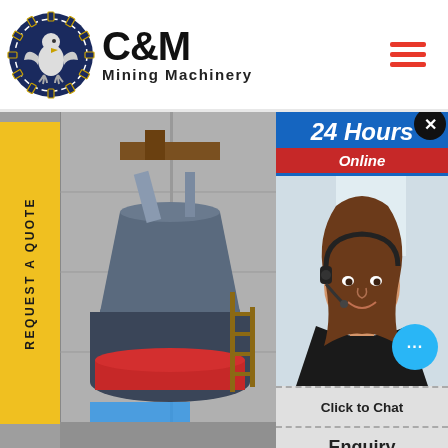[Figure (logo): C&M Mining Machinery logo with eagle/gear emblem in dark blue circle, company name in bold black text]
[Figure (illustration): Hamburger menu icon with three red horizontal lines]
[Figure (photo): Industrial mining machinery/cone crusher in a factory setting with concrete walls]
REQUEST A QUOTE
[Figure (photo): Customer service woman wearing headset, smiling, with 24 Hours Online chat overlay panel]
24 Hours
Online
Click to Chat
Enquiry